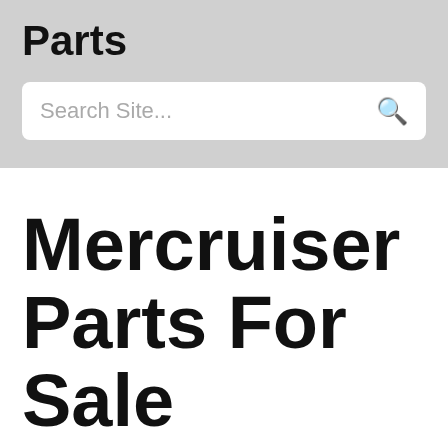Parts
Search Site...
Mercruiser Parts For Sale